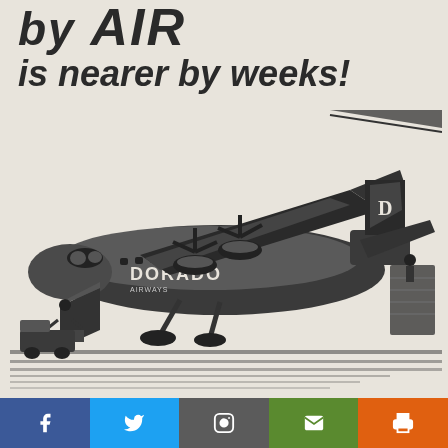by AIR is nearer by weeks!
[Figure (illustration): Black and white illustration of a propeller cargo airplane labeled 'DORADO' being loaded on a runway, with cargo handlers and equipment visible]
Social media share bar: Facebook, Twitter, Instagram, Email, Print